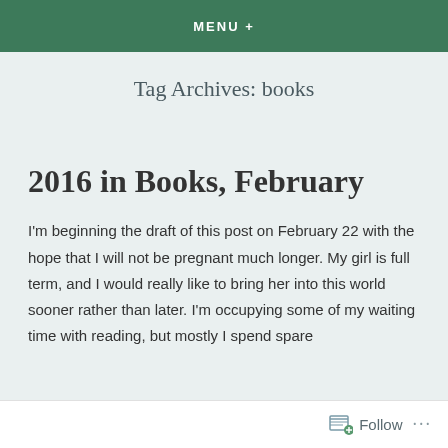MENU +
Tag Archives: books
2016 in Books, February
I'm beginning the draft of this post on February 22 with the hope that I will not be pregnant much longer. My girl is full term, and I would really like to bring her into this world sooner rather than later. I'm occupying some of my waiting time with reading, but mostly I spend spare
Follow ...